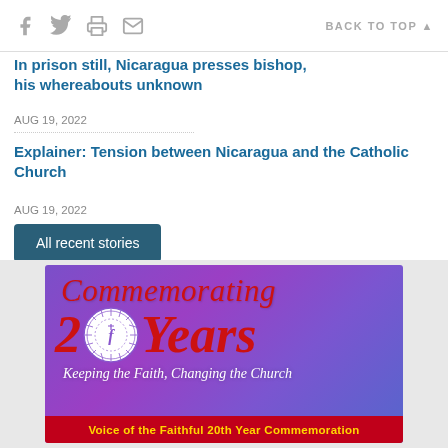Social icons (Facebook, Twitter, Print, Email) | BACK TO TOP
In prison still, Nicaragua presses bishop, his whereabouts unknown
AUG 19, 2022
Explainer: Tension between Nicaragua and the Catholic Church
AUG 19, 2022
All recent stories
[Figure (illustration): Commemorating 20 Years logo — purple/violet gradient background with red italic text 'Commemorating', large '20' with an ornate circular seal in place of the zero, 'Years' in red italic. Tagline 'Keeping the Faith, Changing the Church' in white italic. Red footer bar with gold text 'Voice of the Faithful 20th Year Commemoration'.]